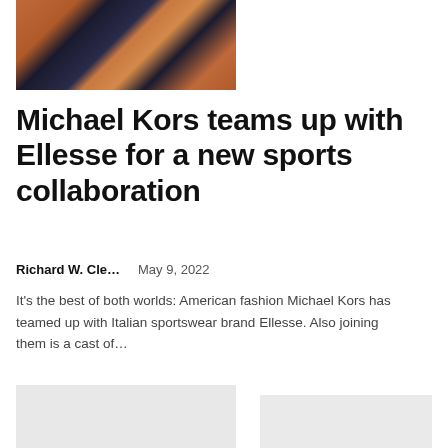[Figure (photo): Group of models wearing orange and navy sportswear at a tennis net, Michael Kors x Ellesse collaboration campaign photo]
Michael Kors teams up with Ellesse for a new sports collaboration
Richard W. Cle…    May 9, 2022
It's the best of both worlds: American fashion Michael Kors has teamed up with Italian sportswear brand Ellesse. Also joining them is a cast of...
[Figure (photo): Placeholder image, light gray background]
[Figure (photo): Placeholder image, light gray background, smaller]